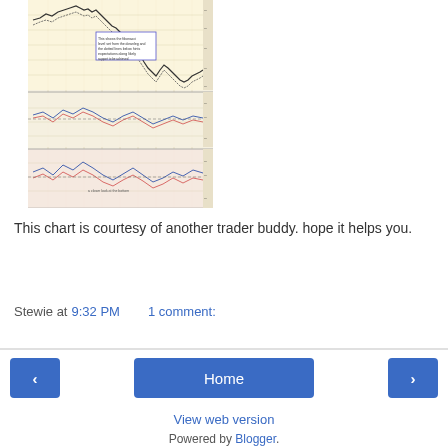[Figure (continuous-plot): A technical stock/financial chart with multiple panels showing price action (candlestick/line), oscillator indicators, and volume on a yellowish/beige grid background. Contains a small text annotation box in the middle panel.]
This chart is courtesy of another trader buddy. hope it helps you.
Stewie at 9:32 PM    1 comment:
Home
View web version
Powered by Blogger.